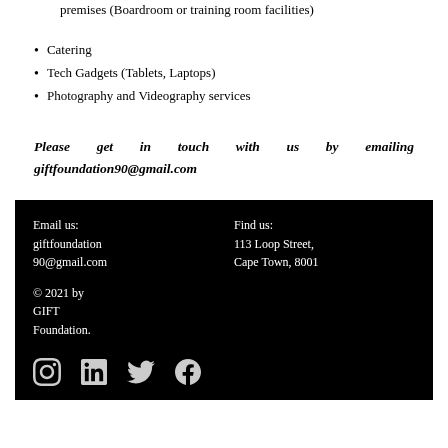premises (Boardroom or training room facilities)
Catering
Tech Gadgets (Tablets, Laptops)
Photography and Videography services
Please get in touch with us by emailing giftfoundation90@gmail.com
Email us: giftfoundation90@gmail.com
Find us: 113 Loop Street, Cape Town, 8001
© 2021 by GIFT Foundation.